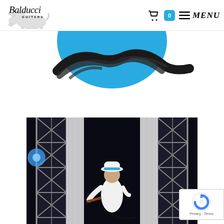[Figure (logo): Balducci Guitars logo featuring a bison silhouette and stylized text]
[Figure (screenshot): Website header navigation with cart icon showing badge '0' and hamburger MENU button]
[Figure (photo): Partial view of a circular guitar body or instrument on blue background, cropped at top of page]
[Figure (photo): Concert photo showing a performer in a white hat and white outfit on a dark stage with truss/scaffold lighting structures and curtains]
[Figure (other): reCAPTCHA badge with Privacy - Terms text]